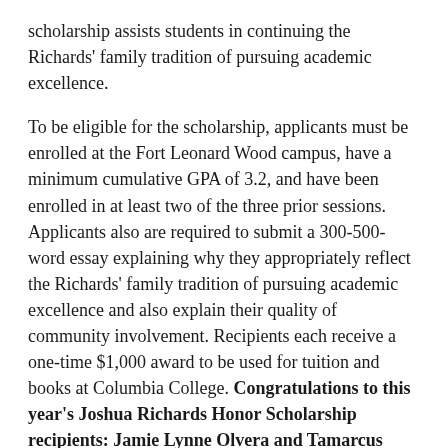scholarship assists students in continuing the Richards' family tradition of pursuing academic excellence.
To be eligible for the scholarship, applicants must be enrolled at the Fort Leonard Wood campus, have a minimum cumulative GPA of 3.2, and have been enrolled in at least two of the three prior sessions. Applicants also are required to submit a 300-500-word essay explaining why they appropriately reflect the Richards' family tradition of pursuing academic excellence and also explain their quality of community involvement. Recipients each receive a one-time $1,000 award to be used for tuition and books at Columbia College. Congratulations to this year's Joshua Richards Honor Scholarship recipients: Jamie Lynne Olvera and Tamarcus Norman.
The Master Sgt. Evander Andrews Memorial Scholarship is designed to provide support for children of combat veterans. U.S. Air Force Master Sgt. Evander Andrews was the first service member to die in Operation Enduring Freedom on Oct. 10, 2001. He was recognized for his outstanding leadership and awarded the Meritorious Service Medal posthumously. On Oct. 22, 2001, when he was laid to rest in Arlington National Cemetery, his